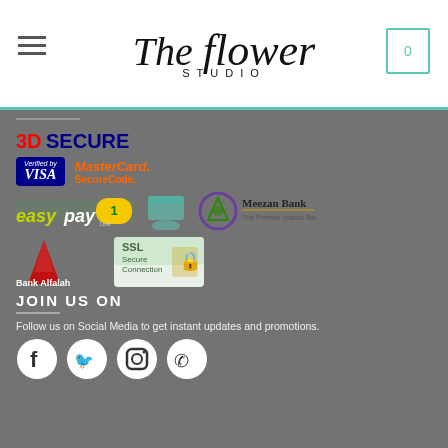The Flower Studio
[Figure (logo): The Flower Studio logo with script font and cart icon showing 0]
[Figure (infographic): Payment logos: 3D Secure badge, Verified by VISA, MasterCard SecureCode, EasyPay 1-Link, hand with card icon, Meezan Bank, Bank Alfalah, SSL Secure Connection]
JOIN US ON
Follow us on Social Media to get instant updates and promotions.
[Figure (infographic): Social media icons: Facebook, Twitter, Instagram, WhatsApp]